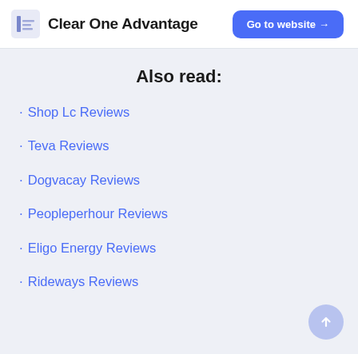Clear One Advantage   Go to website →
Also read:
Shop Lc Reviews
Teva Reviews
Dogvacay Reviews
Peopleperhour Reviews
Eligo Energy Reviews
Rideways Reviews